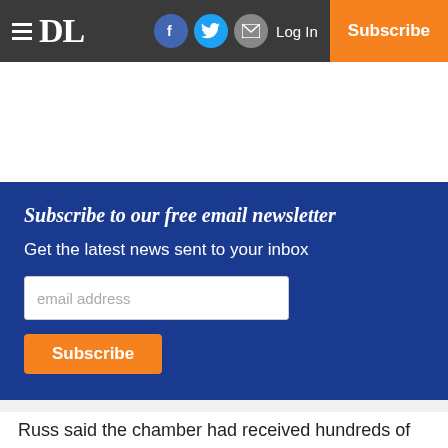≡ DL | Facebook | Twitter | Email | Log In | Subscribe
Subscribe to our free email newsletter
Get the latest news sent to your inbox
email address
Subscribe
Russ said the chamber had received hundreds of